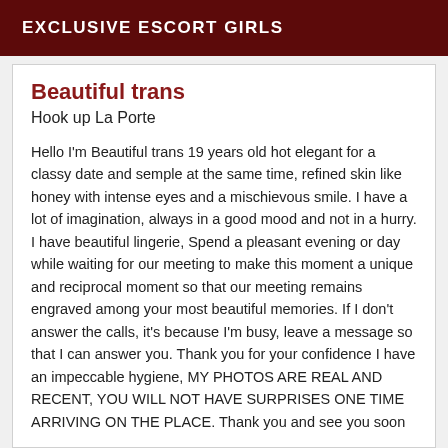EXCLUSIVE ESCORT GIRLS
Beautiful trans
Hook up La Porte
Hello I'm Beautiful trans 19 years old hot elegant for a classy date and semple at the same time, refined skin like honey with intense eyes and a mischievous smile. I have a lot of imagination, always in a good mood and not in a hurry. I have beautiful lingerie, Spend a pleasant evening or day while waiting for our meeting to make this moment a unique and reciprocal moment so that our meeting remains engraved among your most beautiful memories. If I don't answer the calls, it's because I'm busy, leave a message so that I can answer you. Thank you for your confidence I have an impeccable hygiene, MY PHOTOS ARE REAL AND RECENT, YOU WILL NOT HAVE SURPRISES ONE TIME ARRIVING ON THE PLACE. Thank you and see you soon